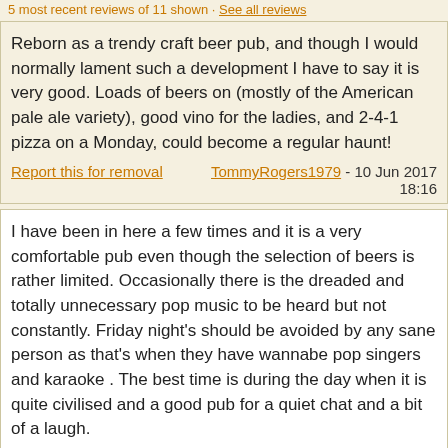5 most recent reviews of 11 shown · See all reviews
Reborn as a trendy craft beer pub, and though I would normally lament such a development I have to say it is very good. Loads of beers on (mostly of the American pale ale variety), good vino for the ladies, and 2-4-1 pizza on a Monday, could become a regular haunt!
Report this for removal   TommyRogers1979 - 10 Jun 2017 18:16
I have been in here a few times and it is a very comfortable pub even though the selection of beers is rather limited. Occasionally there is the dreaded and totally unnecessary pop music to be heard but not constantly. Friday night's should be avoided by any sane person as that's when they have wannabe pop singers and karaoke . The best time is during the day when it is quite civilised and a good pub for a quiet chat and a bit of a laugh.
Report this for removal   Padderborn - 18 May 2011 20:41